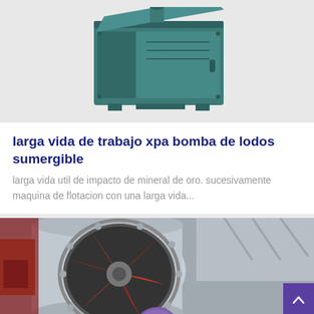[Figure (photo): Industrial machine - teal/green colored heavy equipment, appears to be a submersible slurry pump housing or similar mining equipment, photographed on white background]
larga vida de trabajo xpa bomba de lodos sumergible
larga vida util de impacto de mineral de oro. sucesivamente maquina de flotacion con una larga vida...
[Figure (photo): Industrial machinery interior - large rotating equipment with red impeller blades visible inside a cylindrical housing, industrial setting with metal framework in background]
Leave Message   Chat Online